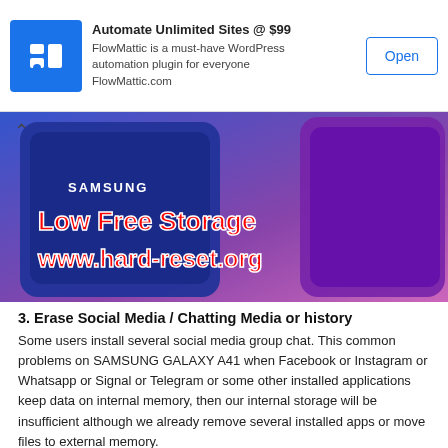[Figure (screenshot): Ad banner for FlowMattic WordPress automation plugin with logo, description text, and Open button]
[Figure (photo): Samsung Galaxy A41 phone image with overlay text 'Low Free Storage www.hard-reset.org' in red bold text on blue/purple background]
3. Erase Social Media / Chatting Media or history
Some users install several social media group chat. This common problems on SAMSUNG GALAXY A41 when Facebook or Instagram or Whatsapp or Signal or Telegram or some other installed applications keep data on internal memory, then our internal storage will be insufficient although we already remove several installed apps or move files to external memory.
Therefore we have to find that applications and try to clean or move manually.
#1 Tips for your Whatsapp Chatting media is very easy but it...